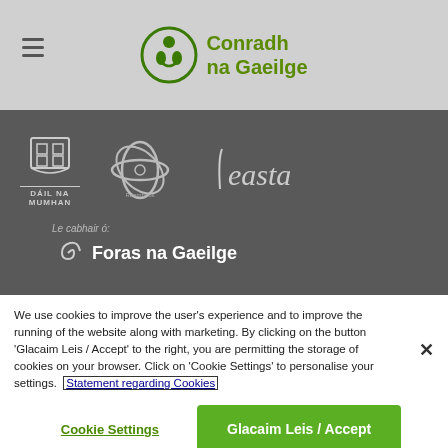Conradh na Gaeilge
[Figure (logo): Dark banner with sponsor logos: Dáil na Mumhan crest, circular orbital logo, feasta script logo, and Foras na Gaeilge logo with text 'Le cabhair ó: Foras na Gaeilge']
We use cookies to improve the user's experience and to improve the running of the website along with marketing. By clicking on the button 'Glacaim Leis / Accept' to the right, you are permitting the storage of cookies on your browser. Click on 'Cookie Settings' to personalise your settings. Statement regarding Cookies
Cookie Settings   Glacaim Leis / Accept